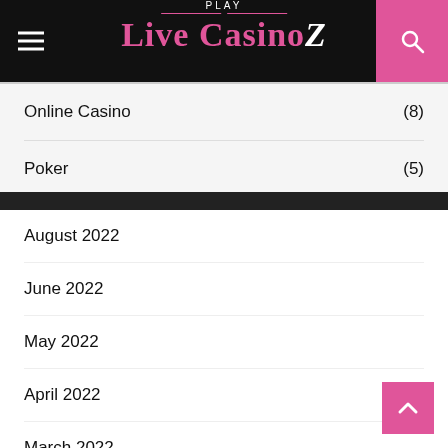[Figure (logo): Play Live CasinoZ logo with pink text on black header background, hamburger menu icon on left, search icon on right]
Online Casino (8)
Poker (5)
August 2022
June 2022
May 2022
April 2022
March 2022
February 2022
January 2022
October 2021
September 2021
August 2021